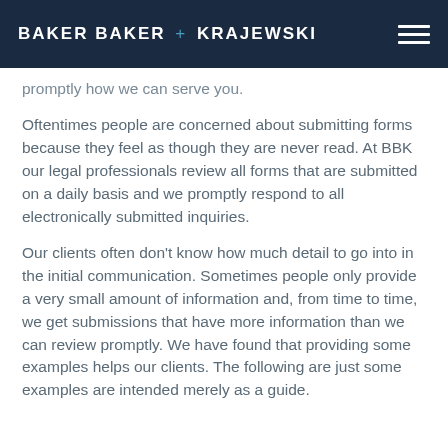BAKER BAKER + KRAJEWSKI
promptly how we can serve you.
Oftentimes people are concerned about submitting forms because they feel as though they are never read. At BBK our legal professionals review all forms that are submitted on a daily basis and we promptly respond to all electronically submitted inquiries.
Our clients often don't know how much detail to go into in the initial communication. Sometimes people only provide a very small amount of information and, from time to time, we get submissions that have more information than we can review promptly. We have found that providing some examples helps our clients. The following are just some examples are intended merely as a guide.